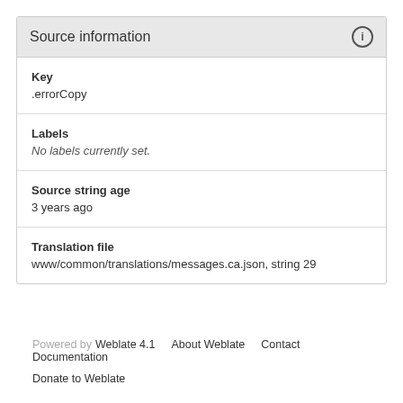Source information
Key
.errorCopy
Labels
No labels currently set.
Source string age
3 years ago
Translation file
www/common/translations/messages.ca.json, string 29
Powered by Weblate 4.1   About Weblate   Contact   Documentation
Donate to Weblate